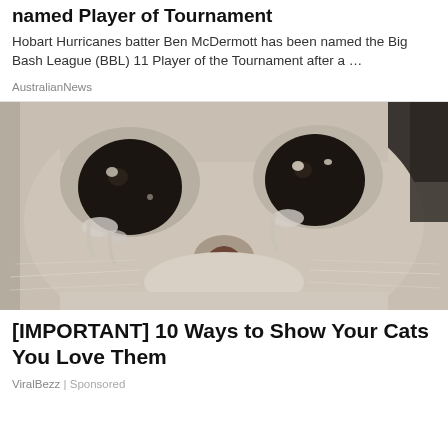named Player of Tournament
Hobart Hurricanes batter Ben McDermott has been named the Big Bash League (BBL) 11 Player of the Tournament after a …
AustralianNews
[Figure (photo): Close-up photo of a crying cat with large, teary black eyes and grey fur, looking sad directly at the camera.]
[IMPORTANT] 10 Ways to Show Your Cats You Love Them
ViralBezz | Sponsored